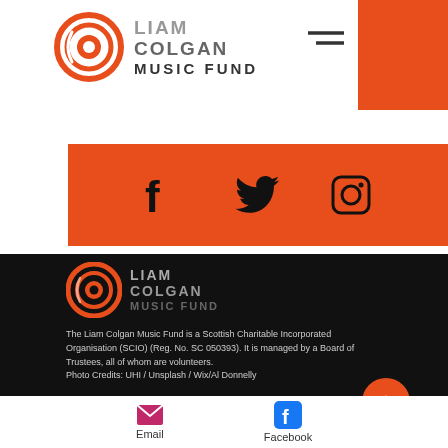[Figure (logo): Liam Colgan Music Fund logo with orange circular swirl icon and text]
[Figure (infographic): Orange social media bar with Facebook, Twitter and Instagram icons]
[Figure (logo): Liam Colgan Music Fund logo in footer (white/orange on black background)]
The Liam Colgan Music Fund is a Scottish Charitable Incorporated Organisation (SCIO) (Reg. No. SC 050393). It is managed by a Board of Trustees, all of whom are volunteers.
Photo Credits: UHI / Unsplash / Wix/Al Donnelly
Privacy Policy   Terms and Conditions.
©2022 The Liam Colgan Music Fund. Site by Gecko
Email    Facebook